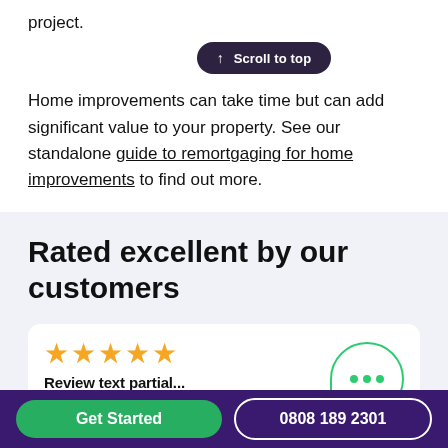project.
[Figure (other): Dark pill-shaped button with arrow and text 'Scroll to top']
Home improvements can take time but can add significant value to your property. See our standalone guide to remortgaging for home improvements to find out more.
Rated excellent by our customers
[Figure (other): Five gold star rating icons followed by a green speech bubble icon with three dots]
Get Started
0808 189 2301